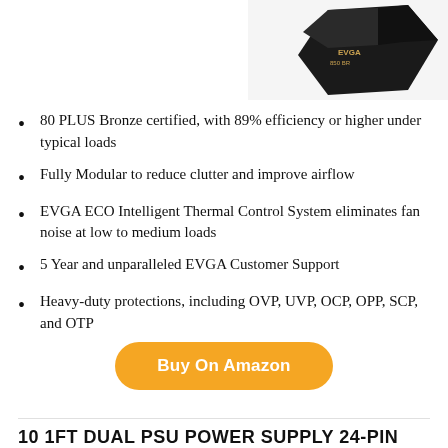[Figure (photo): Product image of an EVGA power supply unit, black box, shown in upper right corner.]
80 PLUS Bronze certified, with 89% efficiency or higher under typical loads
Fully Modular to reduce clutter and improve airflow
EVGA ECO Intelligent Thermal Control System eliminates fan noise at low to medium loads
5 Year and unparalleled EVGA Customer Support
Heavy-duty protections, including OVP, UVP, OCP, OPP, SCP, and OTP
Buy On Amazon
10 1FT DUAL PSU POWER SUPPLY 24-PIN